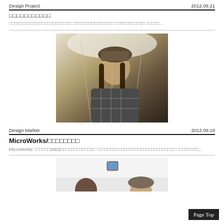Design Project	2012.09.21
□□□□□□□□□□□
□□□□□□□□□□□□□□□□□□□□□□□ □□□□□□□□□□□□□□□ □□□□□□□□□□□ □□□□□...
[Figure (photo): Person wearing a knit hat and plaid jacket, looking upward, with an umbrella in the background]
Design Market	2012.09.19
MicroWorks/□□□□□□□□
MicroWorks □□□□□□2003□□□□□□□□□□□□□ □□□□□□□□□□□□□□□□□□□□□□□□□□□□□ □□□□□□□□...
[Figure (photo): Two people looking at a tablet/device on a wall, partial view]